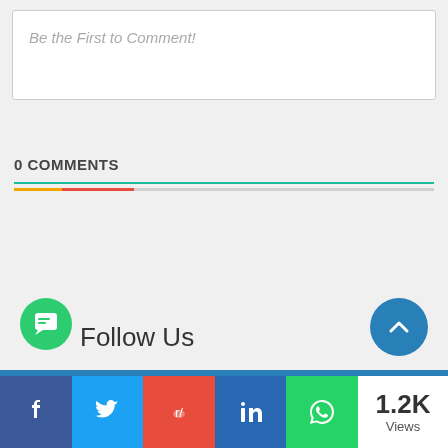Be the First to Comment!
0 COMMENTS
Follow Us
1.2K Views